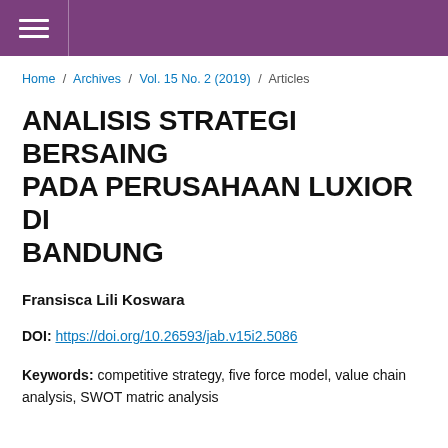Home / Archives / Vol. 15 No. 2 (2019) / Articles
ANALISIS STRATEGI BERSAING PADA PERUSAHAAN LUXIOR DI BANDUNG
Fransisca Lili Koswara
DOI: https://doi.org/10.26593/jab.v15i2.5086
Keywords: competitive strategy, five force model, value chain analysis, SWOT matric analysis